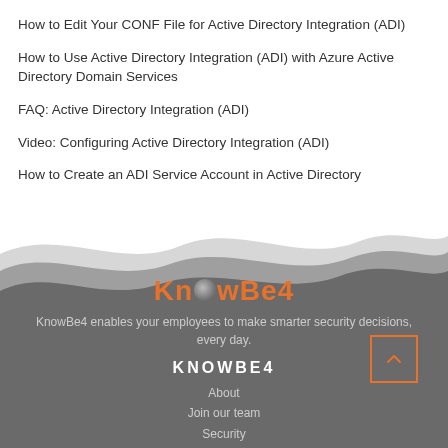How to Edit Your CONF File for Active Directory Integration (ADI)
How to Use Active Directory Integration (ADI) with Azure Active Directory Domain Services
FAQ: Active Directory Integration (ADI)
Video: Configuring Active Directory Integration (ADI)
How to Create an ADI Service Account in Active Directory
[Figure (illustration): Wavy grey decorative background divider separating content from footer]
[Figure (logo): KnowBe4 logo in orange text with stylized 'o' as a grey globe/eye icon]
KnowBe4 enables your employees to make smarter security decisions, every day.
KNOWBE4
About
Join our team
Security